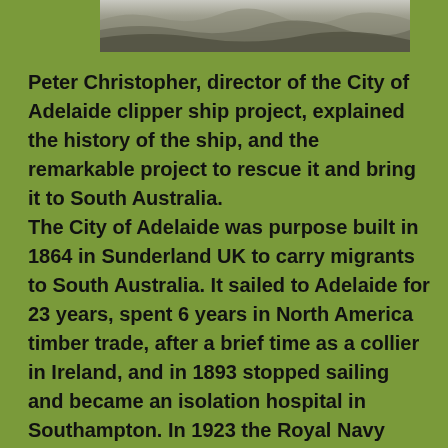[Figure (photo): Partial photograph at the top of the page showing a rocky or coastal scene, partially cropped]
Peter Christopher, director of the City of Adelaide clipper ship project, explained the history of the ship, and the remarkable project to rescue it and bring it to South Australia. The City of Adelaide was purpose built in 1864 in Sunderland UK to carry migrants to South Australia. It sailed to Adelaide for 23 years, spent 6 years in North America timber trade, after a brief time as a collier in Ireland, and in 1893 stopped sailing and became an isolation hospital in Southampton. In 1923 the Royal Navy took it over, renamed it HMS Carrick and moved the ship to Scotland as a cadet